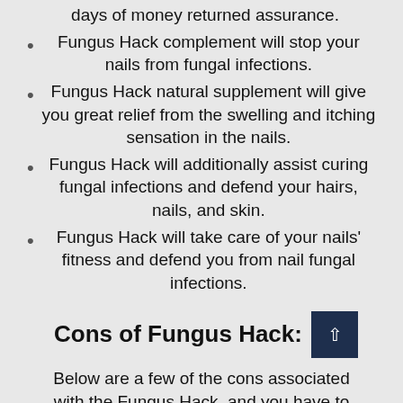days of money returned assurance.
Fungus Hack complement will stop your nails from fungal infections.
Fungus Hack natural supplement will give you great relief from the swelling and itching sensation in the nails.
Fungus Hack will additionally assist curing fungal infections and defend your hairs, nails, and skin.
Fungus Hack will take care of your nails' fitness and defend you from nail fungal infections.
Cons of Fungus Hack:
Below are a few of the cons associated with the Fungus Hack, and you have to know it entirely before